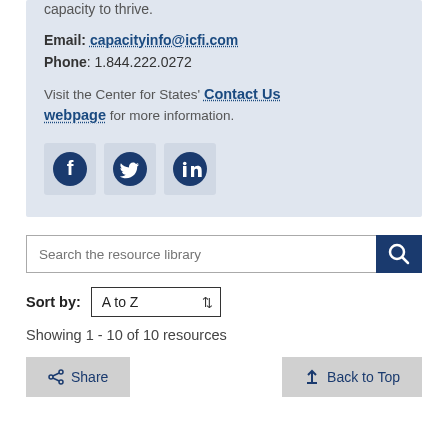capacity to thrive.
Email: capacityinfo@icfi.com
Phone: 1.844.222.0272
Visit the Center for States' Contact Us webpage for more information.
[Figure (illustration): Three social media icons: Facebook, Twitter, LinkedIn in dark blue circles on light grey square backgrounds]
Search the resource library
Sort by: A to Z
Showing 1 - 10 of 10 resources
Share
Back to Top